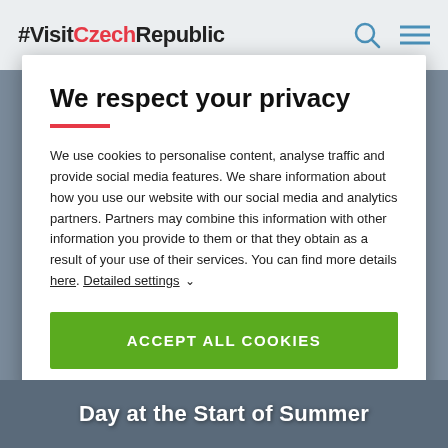#VisitCzechRepublic
We respect your privacy
We use cookies to personalise content, analyse traffic and provide social media features. We share information about how you use our website with our social media and analytics partners. Partners may combine this information with other information you provide to them or that they obtain as a result of your use of their services. You can find more details here. Detailed settings ˅
ACCEPT ALL COOKIES
Day at the Start of Summer